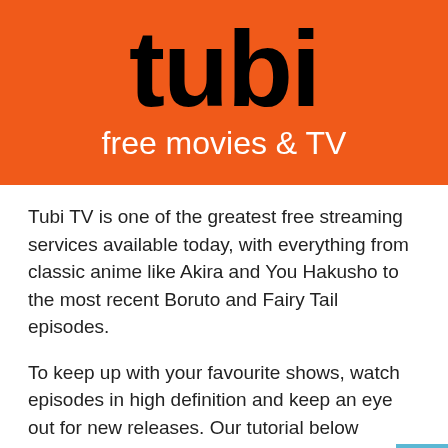[Figure (logo): Tubi TV logo banner: orange background with large black bold 'tubi' text and white 'free movies & TV' subtitle]
Tubi TV is one of the greatest free streaming services available today, with everything from classic anime like Akira and You Hakusho to the most recent Boruto and Fairy Tail episodes.
To keep up with your favourite shows, watch episodes in high definition and keep an eye out for new releases. Our tutorial below contains more information about Tubi TV and how to install it on any device.